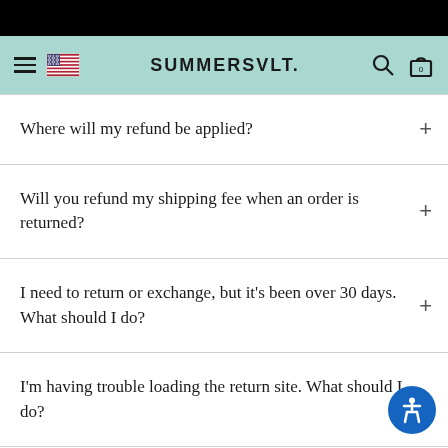SUMMERSALT.
Where will my refund be applied?
Will you refund my shipping fee when an order is returned?
I need to return or exchange, but it's been over 30 days. What should I do?
I'm having trouble loading the return site. What should I do?
What is an Instant Exchange?